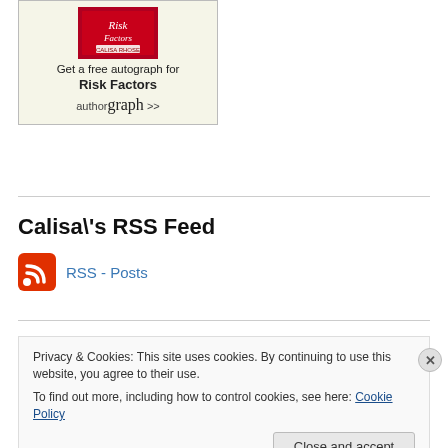[Figure (illustration): Book cover widget for 'Risk Factors' by Calisa Rhose with autograph offer. Shows book cover image, text 'Get a free autograph for Risk Factors', and authorgraph >> link.]
Calisa\'s RSS Feed
[Figure (logo): Orange/red RSS feed icon]
RSS - Posts
Privacy & Cookies: This site uses cookies. By continuing to use this website, you agree to their use.
To find out more, including how to control cookies, see here: Cookie Policy
Close and accept